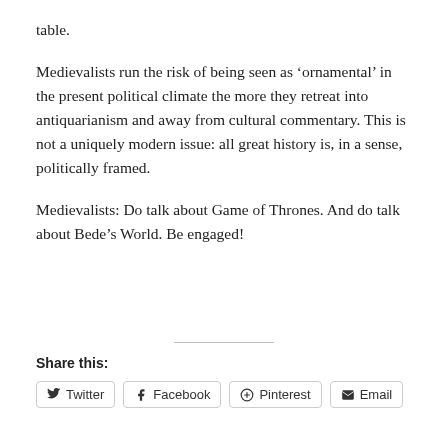table.
Medievalists run the risk of being seen as ‘ornamental’ in the present political climate the more they retreat into antiquarianism and away from cultural commentary. This is not a uniquely modern issue: all great history is, in a sense, politically framed.
Medievalists: Do talk about Game of Thrones. And do talk about Bede’s World. Be engaged!
Share this:
Twitter  Facebook  Pinterest  Email